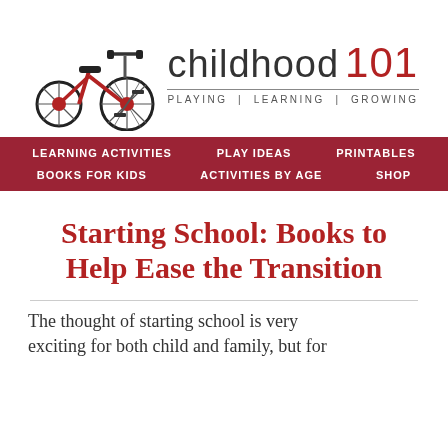[Figure (logo): Childhood 101 logo featuring a red tricycle illustration on the left and the text 'childhood 101' with tagline 'PLAYING | LEARNING | GROWING' on the right]
LEARNING ACTIVITIES  PLAY IDEAS  PRINTABLES  BOOKS FOR KIDS  ACTIVITIES BY AGE  SHOP
Starting School: Books to Help Ease the Transition
The thought of starting school is very exciting for both child and family, but for